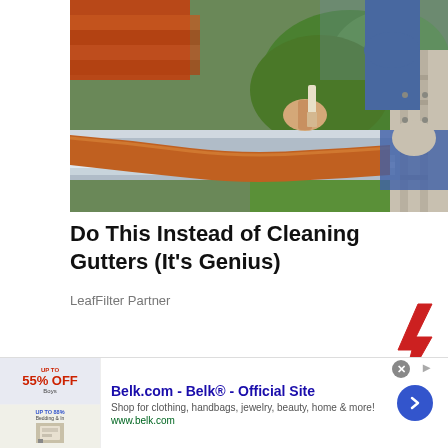[Figure (photo): Person on a ladder applying sealant or coating to a home gutter with a paintbrush, close-up view showing orange/copper colored gutter sealant and metal gutter, with green grass visible in background]
Do This Instead of Cleaning Gutters (It's Genius)
LeafFilter Partner
[Figure (illustration): Red lightning bolt icon]
[Figure (screenshot): Advertisement banner for Belk.com showing product images on left, ad text in center, and blue arrow button on right]
Belk.com - Belk® - Official Site
Shop for clothing, handbags, jewelry, beauty, home & more!
www.belk.com